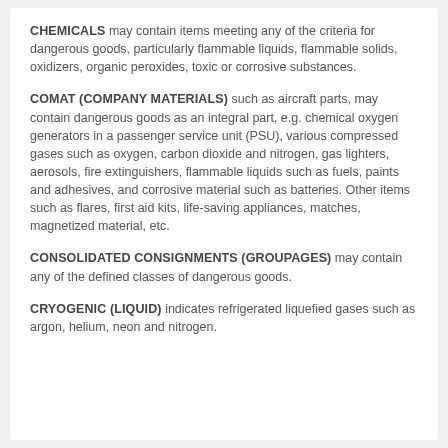CHEMICALS may contain items meeting any of the criteria for dangerous goods, particularly flammable liquids, flammable solids, oxidizers, organic peroxides, toxic or corrosive substances.
COMAT (COMPANY MATERIALS) such as aircraft parts, may contain dangerous goods as an integral part, e.g. chemical oxygen generators in a passenger service unit (PSU), various compressed gases such as oxygen, carbon dioxide and nitrogen, gas lighters, aerosols, fire extinguishers, flammable liquids such as fuels, paints and adhesives, and corrosive material such as batteries. Other items such as flares, first aid kits, life-saving appliances, matches, magnetized material, etc.
CONSOLIDATED CONSIGNMENTS (GROUPAGES) may contain any of the defined classes of dangerous goods.
CRYOGENIC (LIQUID) indicates refrigerated liquefied gases such as argon, helium, neon and nitrogen.